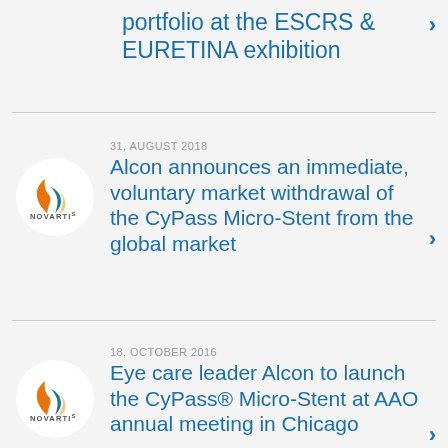portfolio at the ESCRS & EURETINA exhibition
31, AUGUST 2018
Alcon announces an immediate, voluntary market withdrawal of the CyPass Micro-Stent from the global market
18, OCTOBER 2016
Eye care leader Alcon to launch the CyPass® Micro-Stent at AAO annual meeting in Chicago